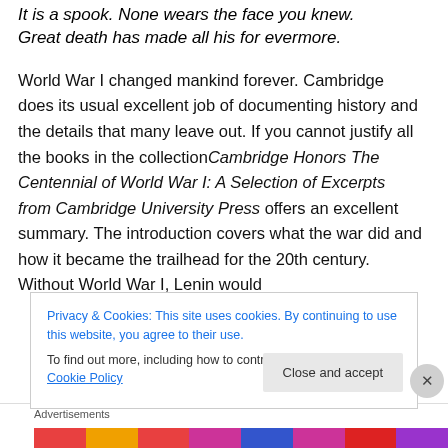It is a spook. None wears the face you knew.
Great death has made all his for evermore.
World War I changed mankind forever. Cambridge does its usual excellent job of documenting history and the details that many leave out. If you cannot justify all the books in the collectionCambridge Honors The Centennial of World War I: A Selection of Excerpts from Cambridge University Press offers an excellent summary. The introduction covers what the war did and how it became the trailhead for the 20th century. Without World War I, Lenin would
Privacy & Cookies: This site uses cookies. By continuing to use this website, you agree to their use.
To find out more, including how to control cookies, see here: Cookie Policy
Close and accept
Advertisements